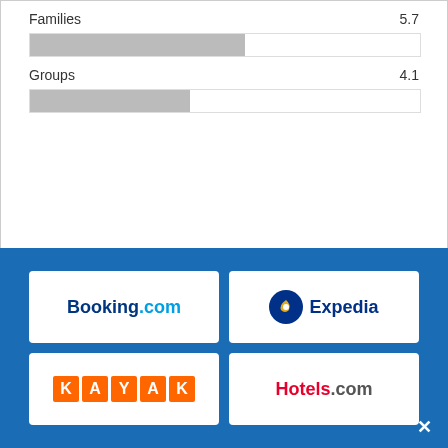[Figure (infographic): Partial bar chart showing ratings for Business Travelers (truncated at top), Families (5.7), and Groups (4.1) with horizontal gray progress bars on a scale]
Location
Al Salam Tower, Sheikh Zayed Road, Media City, United Arab Emirates
[Figure (infographic): Booking partner logos overlay on blue background: Booking.com, Expedia, KAYAK, Hotels.com in a 2x2 grid]